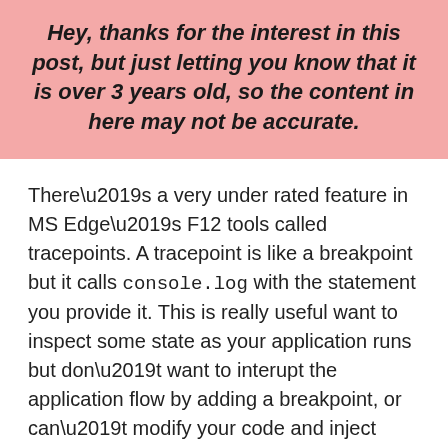Hey, thanks for the interest in this post, but just letting you know that it is over 3 years old, so the content in here may not be accurate.
There’s a very under rated feature in MS Edge’s F12 tools called tracepoints. A tracepoint is like a breakpoint but it calls console.log with the statement you provide it. This is really useful want to inspect some state as your application runs but don’t want to interupt the application flow by adding a breakpoint, or can’t modify your code and inject console.log statements (eg: production environments).